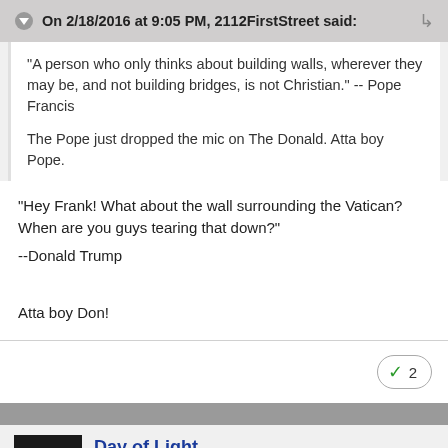On 2/18/2016 at 9:05 PM, 2112FirstStreet said:
"A person who only thinks about building walls, wherever they may be, and not building bridges, is not Christian." -- Pope Francis

The Pope just dropped the mic on The Donald. Atta boy Pope.
"Hey Frank! What about the wall surrounding the Vatican? When are you guys tearing that down?"
--Donald Trump

Atta boy Don!
✓ 2
Day of Light
Posted February 18, 2016